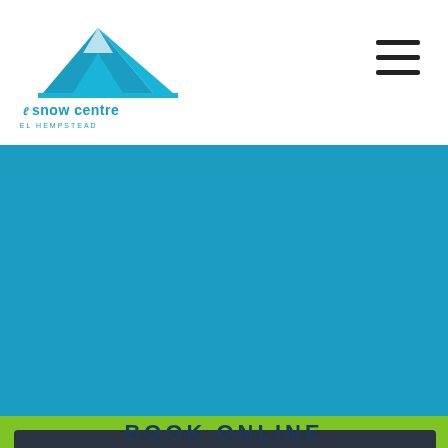[Figure (logo): The Snow Centre Hemel Hempstead logo with blue mountain graphic and text]
Partners
Cookie Policy
Site Map
This website uses cookies to ensure you get the best experience on our website. Learn more
Got it!